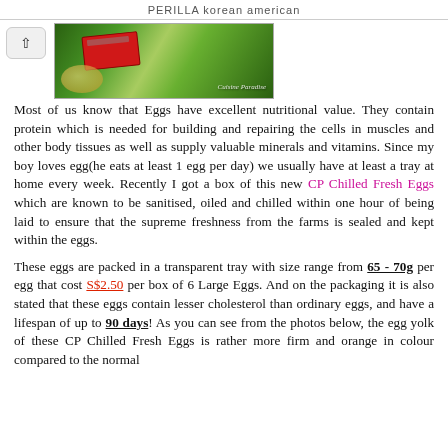PERILLA korean american
[Figure (photo): Food photo showing eggs on green grass background with a red box/packaging, with 'Cuisine Paradise' watermark text in bottom right. A back/up navigation button is visible on the left.]
Most of us know that Eggs have excellent nutritional value. They contain protein which is needed for building and repairing the cells in muscles and other body tissues as well as supply valuable minerals and vitamins. Since my boy loves egg(he eats at least 1 egg per day) we usually have at least a tray at home every week. Recently I got a box of this new CP Chilled Fresh Eggs which are known to be sanitised, oiled and chilled within one hour of being laid to ensure that the supreme freshness from the farms is sealed and kept within the eggs.
These eggs are packed in a transparent tray with size range from 65 - 70g per egg that cost S$2.50 per box of 6 Large Eggs. And on the packaging it is also stated that these eggs contain lesser cholesterol than ordinary eggs, and have a lifespan of up to 90 days! As you can see from the photos below, the egg yolk of these CP Chilled Fresh Eggs is rather more firm and orange in colour compared to the normal